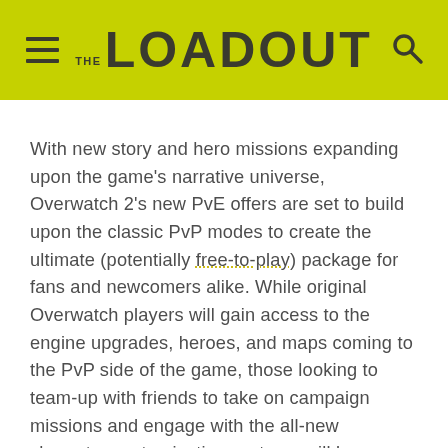THE LOADOUT
With new story and hero missions expanding upon the game's narrative universe, Overwatch 2's new PvE offers are set to build upon the classic PvP modes to create the ultimate (potentially free-to-play) package for fans and newcomers alike. While original Overwatch players will gain access to the engine upgrades, heroes, and maps coming to the PvP side of the game, those looking to team-up with friends to take on campaign missions and engage with the all-new character customisation systems will be eager to upgrade to the new game once it launches.